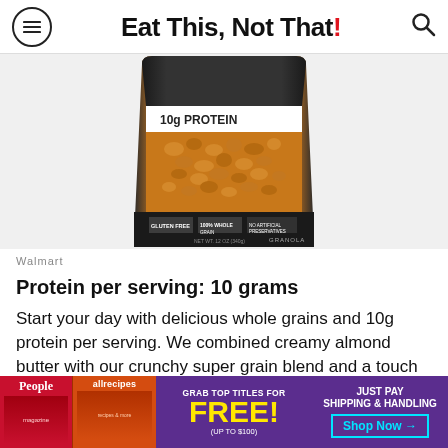Eat This, Not That!
[Figure (photo): A black and orange bag of granola with '10g PROTEIN' label, gluten free, 100% whole grain, containing granola pieces]
Walmart
Protein per serving: 10 grams
Start your day with delicious whole grains and 10g protein per serving. We combined creamy almond butter with our crunchy super grain blend and a touch of cinnamon to create a snack that's perfect to en... yogu... re
[Figure (infographic): Advertisement banner: Grab top titles for FREE (up to $100), Just Pay Shipping & Handling, Shop Now button, with People and allrecipes magazine covers]